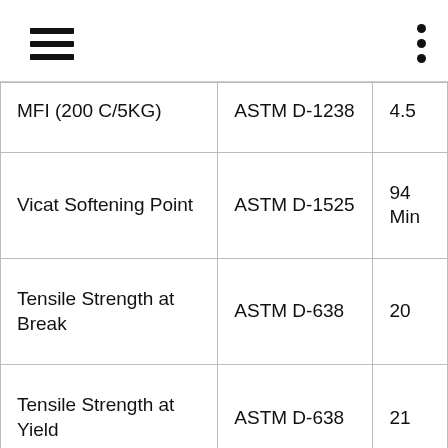| MFI (200 C/5KG) | ASTM D-1238 | 4.5 |
| Vicat Softening Point | ASTM D-1525 | 94 Min |
| Tensile Strength at Break | ASTM D-638 | 20 |
| Tensile Strength at Yield | ASTM D-638 | 21 |
| Elongaion at Break | ASTM D-638 | 55 |